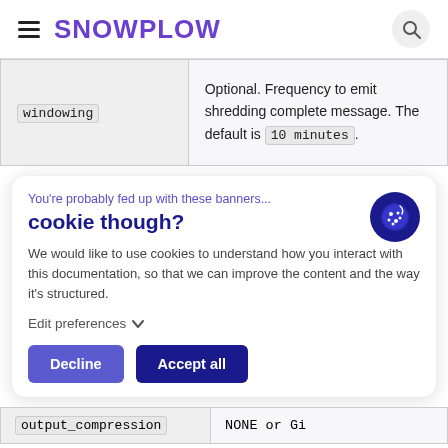SNOWPLOW
| windowing | Optional. Frequency to emit shredding complete message. The default is 10 minutes. |
You're probably fed up with these banners... cookie though? We would like to use cookies to understand how you interact with this documentation, so that we can improve the content and the way it's structured. Edit preferences Decline Accept all
| output_compression | NONE or Gi... |